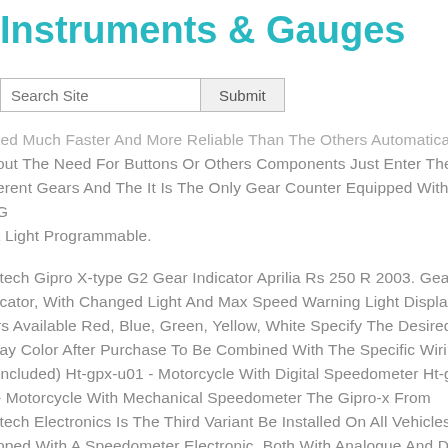Instruments & Gauges
Search Site  Submit
ted Much Faster And More Reliable Than The Others Automaticall out The Need For Buttons Or Others Components Just Enter The erent Gears And The It Is The Only Gear Counter Equipped With A G t Light Programmable.
itech Gipro X-type G2 Gear Indicator Aprilia Rs 250 R 2003. Gear icator, With Changed Light And Max Speed Warning Light Display rs Available Red, Blue, Green, Yellow, White Specify The Desired lay Color After Purchase To Be Combined With The Specific Wiring Included) Ht-gpx-u01 - Motorcycle With Digital Speedometer Ht-gp - Motorcycle With Mechanical Speedometer The Gipro-x From itech Electronics Is The Third Variant Be Installed On All Vehicles pped With A Speedometer Electronic, Both With Analogue And Di ling, That Are Not Already Covered By Gipro Applications Already rted Much Faster And More Reliable Than The Others Automaticall out The Need For Buttons Or Others Components Just Enter T